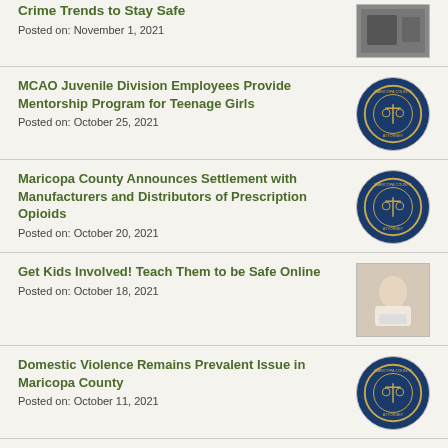Crime Trends to Stay Safe
Posted on: November 1, 2021
MCAO Juvenile Division Employees Provide Mentorship Program for Teenage Girls
Posted on: October 25, 2021
Maricopa County Announces Settlement with Manufacturers and Distributors of Prescription Opioids
Posted on: October 20, 2021
Get Kids Involved! Teach Them to be Safe Online
Posted on: October 18, 2021
Domestic Violence Remains Prevalent Issue in Maricopa County
Posted on: October 11, 2021
Celebrate Hispanic Heritage Month: Meet Luis